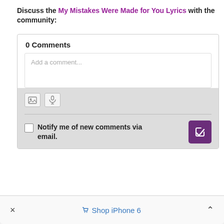Discuss the My Mistakes Were Made for You Lyrics with the community:
0 Comments
Add a comment...
Notify me of new comments via email.
× Shop iPhone 6 ^